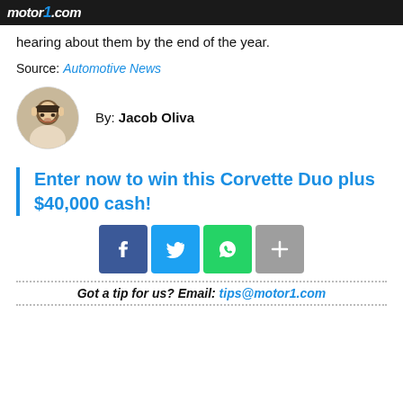motor1.com
hearing about them by the end of the year.
Source: Automotive News
By: Jacob Oliva
Enter now to win this Corvette Duo plus $40,000 cash!
[Figure (infographic): Social share buttons: Facebook, Twitter, WhatsApp, and more (+)]
Got a tip for us? Email: tips@motor1.com